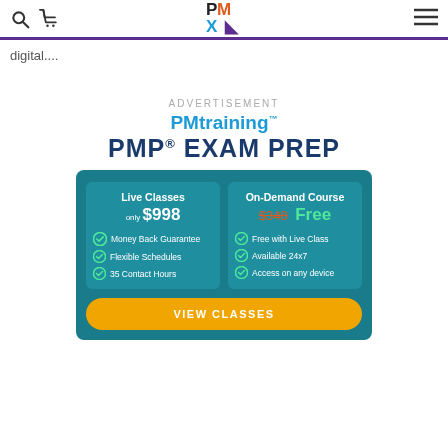PMtraining navigation header with search, cart, logo, and menu icons
digital....
ADVERTISEMENT
[Figure (logo): PMtraining logo with blue PM and training text]
PMP® EXAM PREP
[Figure (infographic): Advertisement box for PMP Exam Prep with two columns: Live Classes only $998 with Money Back Guarantee, Flexible Schedules, 35 Contact Hours; On-Demand Course $348 strikethrough Free with Free with Live Class, Available 24x7, Access on any device; VIEW CLASSES button]